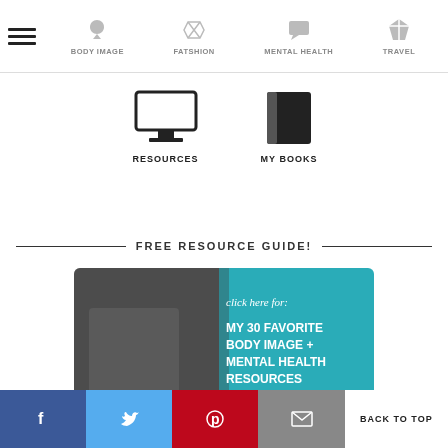BODY IMAGE | FATSHION | MENTAL HEALTH | TRAVEL
[Figure (illustration): Resources icon (monitor) and My Books icon (book)]
FREE RESOURCE GUIDE!
[Figure (photo): Promotional banner: click here for MY 30 FAVORITE BODY IMAGE + MENTAL HEALTH RESOURCES (hell yeah, it's free!)]
Facebook | Twitter | Pinterest | Email | BACK TO TOP